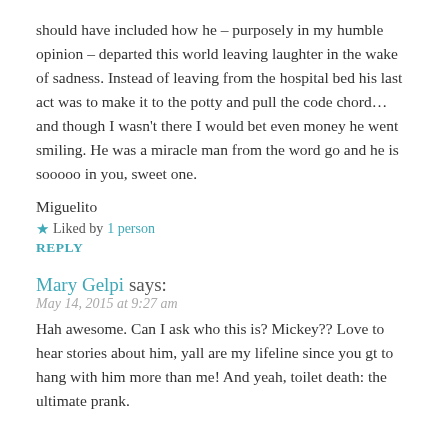should have included how he – purposely in my humble opinion – departed this world leaving laughter in the wake of sadness. Instead of leaving from the hospital bed his last act was to make it to the potty and pull the code chord… and though I wasn't there I would bet even money he went smiling. He was a miracle man from the word go and he is sooooo in you, sweet one.
Miguelito
★ Liked by 1 person
REPLY
Mary Gelpi says:
May 14, 2015 at 9:27 am
Hah awesome. Can I ask who this is? Mickey?? Love to hear stories about him, yall are my lifeline since you gt to hang with him more than me! And yeah, toilet death: the ultimate prank.